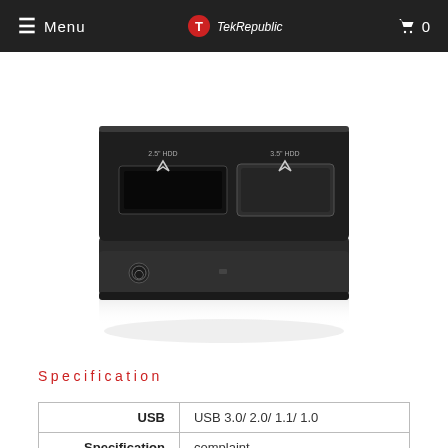Menu | TekRepublic | 0
[Figure (photo): Black dual-bay hard drive docking station with two HDD slots labeled 2.5" HDD and 3.5" HDD, power button, and a reflection on white surface.]
Specification
| USB | USB 3.0/ 2.0/ 1.1/ 1.0 |
| Specification | complaint |